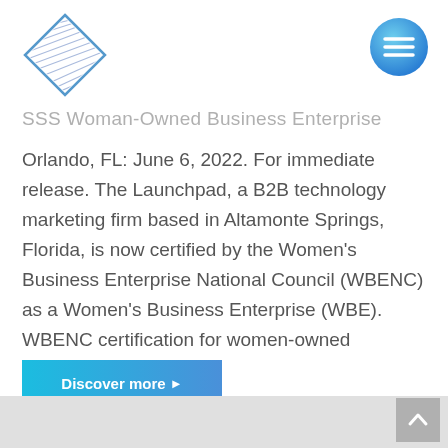[Figure (logo): Diamond-shaped logo with hatched lines inside, in blue/gray tones]
[Figure (illustration): Circular blue gradient hamburger menu button with three horizontal white lines]
SSS Woman-Owned Business Enterprise
Orlando, FL: June 6, 2022. For immediate release. The Launchpad, a B2B technology marketing firm based in Altamonte Springs, Florida, is now certified by the Women’s Business Enterprise National Council (WBENC) as a Women’s Business Enterprise (WBE). WBENC certification for women-owned business is the gold...
Discover more ▶
[Figure (illustration): Gray scroll-to-top button with upward arrow]